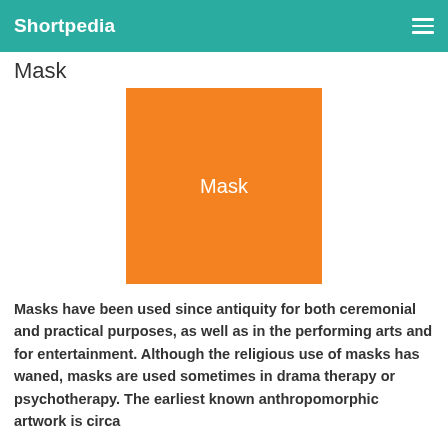Shortpedia
Mask
[Figure (illustration): Orange square placeholder image with the word 'Mask' centered in white text]
Masks have been used since antiquity for both ceremonial and practical purposes, as well as in the performing arts and for entertainment. Although the religious use of masks has waned, masks are used sometimes in drama therapy or psychotherapy. The earliest known anthropomorphic artwork is circa